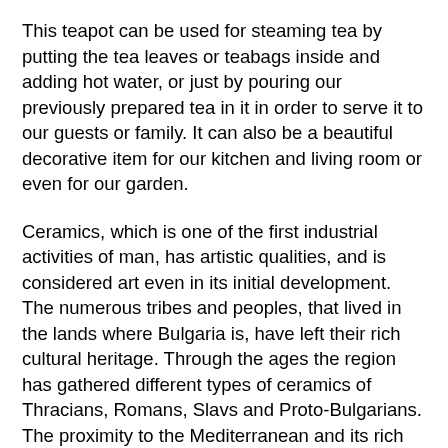This teapot can be used for steaming tea by putting the tea leaves or teabags inside and adding hot water, or just by pouring our previously prepared tea in it in order to serve it to our guests or family. It can also be a beautiful decorative item for our kitchen and living room or even for our garden.
Ceramics, which is one of the first industrial activities of man, has artistic qualities, and is considered art even in its initial development.
The numerous tribes and peoples, that lived in the lands where Bulgaria is, have left their rich cultural heritage. Through the ages the region has gathered different types of ceramics of Thracians, Romans, Slavs and Proto-Bulgarians. The proximity to the Mediterranean and its rich and diverse culture has influenced the development of Bulgarian crafts.
In DankoHandmade we embrace tradition by interpreting it in a modern way. Each of our product lines has its own style and character, but all of them carry the comfort and warmth of Bulgarian